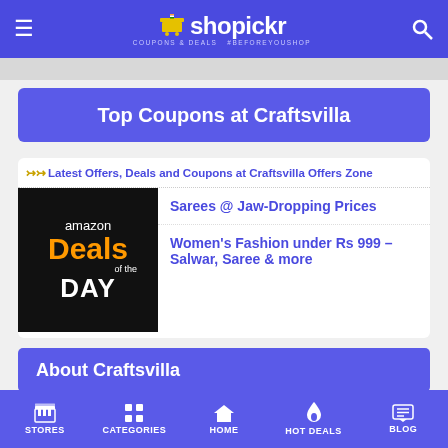shopickr — COUPONS & DEALS #BEFOREYOUSHOP
Top Coupons at Craftsvilla
Latest Offers, Deals and Coupons at Craftsvilla Offers Zone
Sarees @ Jaw-Dropping Prices
Women's Fashion under Rs 999 – Salwar, Saree & more
[Figure (photo): Amazon Deals of the Day promotional banner]
About Craftsvilla
Craftsvilla is India's largest marketplace for unique handmade, handcrafted & gift items. Choose from over 1,00,000 products
STORES | CATEGORIES | HOME | HOT DEALS | BLOG